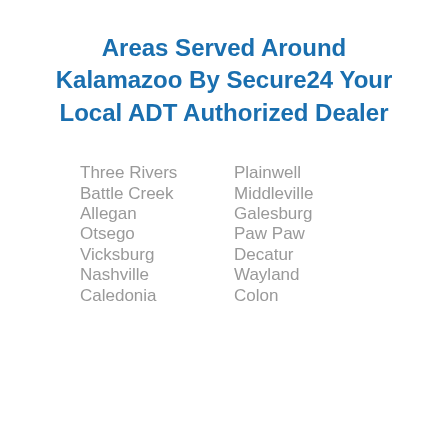Areas Served Around Kalamazoo By Secure24 Your Local ADT Authorized Dealer
Three Rivers
Plainwell
Battle Creek
Middleville
Allegan
Galesburg
Otsego
Paw Paw
Vicksburg
Decatur
Nashville
Wayland
Caledonia
Colon